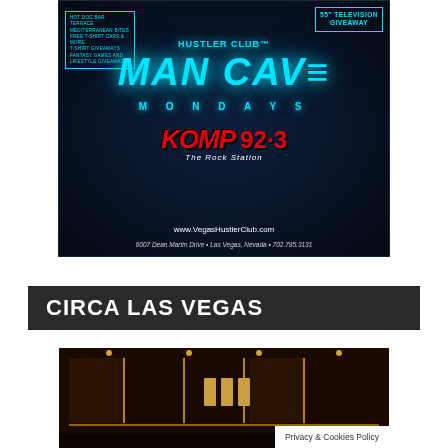[Figure (photo): Hustler Club Man Cave Mondays promotional ad featuring a woman, neon cyan text reading HUSTLER CLUB and MAN CAVE MONDAYS, KOMP 92.3 The Rock Station logo, 55" Television Giveaway box, website www.VegasHustlerClub.com, address 6007 Dean Martin Drive Las Vegas Nevada 702.795.3131, and a list of perks on the left]
CIRCA LAS VEGAS
[Figure (photo): Interior of Circa Las Vegas bar or lounge showing shelving with liquor bottles, warm pendant lights, dark wood paneling with gold accents]
Privacy & Cookies Policy